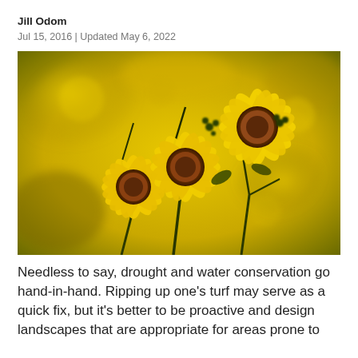Jill Odom
Jul 15, 2016 | Updated May 6, 2022
[Figure (photo): Close-up photograph of three bright yellow daisy-like flowers (tickseed sunflowers or similar) with dark centers and green stems, against a blurred yellow-green bokeh background.]
Needless to say, drought and water conservation go hand-in-hand. Ripping up one’s turf may serve as a quick fix, but it’s better to be proactive and design landscapes that are appropriate for areas prone to